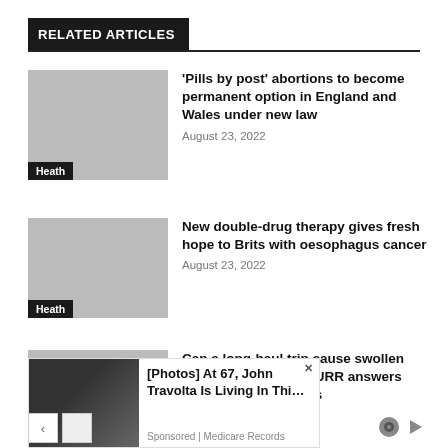RELATED ARTICLES
'Pills by post' abortions to become permanent option in England and Wales under new law
August 23, 2022
Heath
New double-drug therapy gives fresh hope to Brits with oesophagus cancer
August 23, 2022
Heath
Can a long-haul trip cause swollen legs? Dr MARTIN SCURR answers your health questions
August 23, 2022
Heath
[Figure (photo): Ad overlay showing two men kissing at a formal event, with text '[Photos] At 67, John Travolta Is Living In Thi...' Sponsored by Medicare Records]